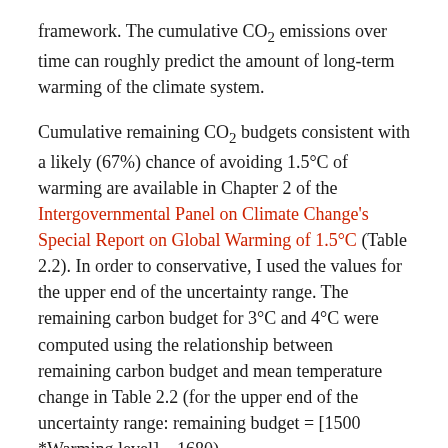framework. The cumulative CO₂ emissions over time can roughly predict the amount of long-term warming of the climate system.
Cumulative remaining CO₂ budgets consistent with a likely (67%) chance of avoiding 1.5°C of warming are available in Chapter 2 of the Intergovernmental Panel on Climate Change's Special Report on Global Warming of 1.5°C (Table 2.2). In order to conservative, I used the values for the upper end of the uncertainty range. The remaining carbon budget for 3°C and 4°C were computed using the relationship between remaining carbon budget and mean temperature change in Table 2.2 (for the upper end of the uncertainty range: remaining budget = [1500 *Warming level] – 1680).